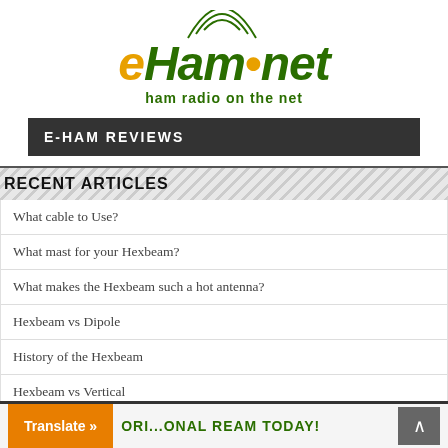[Figure (logo): eHam.net logo with orange italic 'e', green italic 'Ham', orange dot, green italic 'net', radio waves above dot, and tagline 'ham radio on the net' in green]
E-HAM REVIEWS
RECENT ARTICLES
What cable to Use?
What mast for your Hexbeam?
What makes the Hexbeam such a hot antenna?
Hexbeam vs Dipole
History of the Hexbeam
Hexbeam vs Vertical
Translate » ORI...ONAL REAM TODAY!